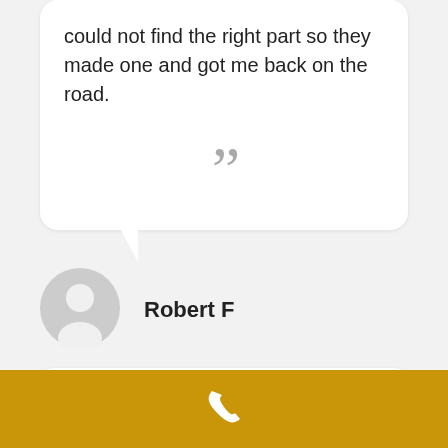could not find the right part so they made one and got me back on the road.
[Figure (illustration): Large closing quotation mark in gray]
Robert F
[Figure (illustration): Gray circular avatar silhouette icon]
Karen A
November 25, 2014
[Figure (illustration): White phone handset icon on golden/amber background bar at bottom]